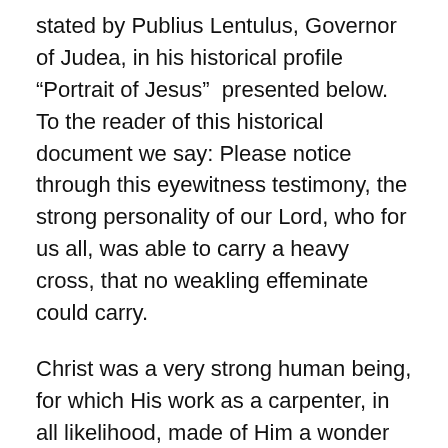stated by Publius Lentulus, Governor of Judea, in his historical profile “Portrait of Jesus”  presented below. To the reader of this historical document we say: Please notice through this eyewitness testimony, the strong personality of our Lord, who for us all, was able to carry a heavy cross, that no weakling effeminate could carry.
Christ was a very strong human being, for which His work as a carpenter, in all likelihood, made of Him a wonder of physical strength and mental fortitude. He easily expelled the merchants from the temple, and that’s not of an effeminate, but a man with incredible strength and unwavering determination. Had Christ been a man with homosexual tendencies, we today would have no Savior, but thank God that He deserved his two extraordinary titles for His representative conduct on earth, namely, the Savior of the world, and the King of kings and Lord of lords. Notice the